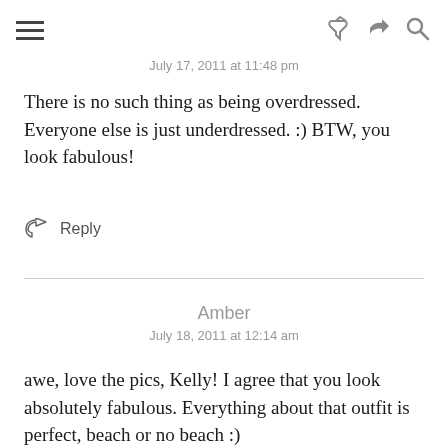≡  [share icon] [search icon]
July 17, 2011 at 11:48 pm
There is no such thing as being overdressed. Everyone else is just underdressed. :) BTW, you look fabulous!
↩ Reply
Amber
July 18, 2011 at 12:14 am
awe, love the pics, Kelly! I agree that you look absolutely fabulous. Everything about that outfit is perfect, beach or no beach :)